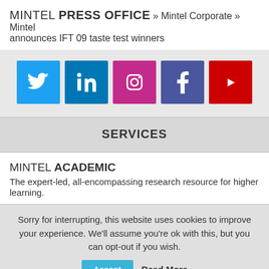MINTEL PRESS OFFICE » Mintel Corporate » Mintel announces IFT 09 taste test winners
[Figure (illustration): Five social media icons in colored squares: Twitter (blue), LinkedIn (blue), Instagram (pink/magenta), Facebook (purple-blue), YouTube (red)]
SERVICES
MINTEL ACADEMIC
The expert-led, all-encompassing research resource for higher learning.
Sorry for interrupting, this website uses cookies to improve your experience. We'll assume you're ok with this, but you can opt-out if you wish.  Accept  Read More